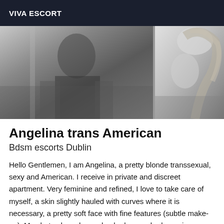VIVA ESCORT
[Figure (photo): Two black and white photographs side by side: left photo shows a person in dark clothing, right photo shows a person with blonde hair]
Angelina trans American
Bdsm escorts Dublin
Hello Gentlemen, I am Angelina, a pretty blonde transsexual, sexy and American. I receive in private and discreet apartment. Very feminine and refined, I love to take care of myself, a skin slightly hauled with curves where it is necessary, a pretty soft face with fine features (subtle make-up). My photos have been checked, so no bad surprises physically. I am a calm, discreet and respectful person. I like to make new encounters, but I remain very selective because the feeling is very